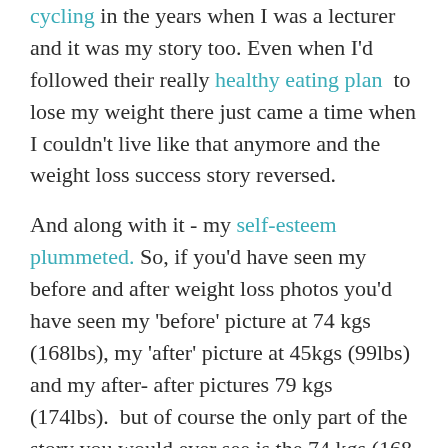cycling in the years when I was a lecturer and it was my story too. Even when I'd followed their really healthy eating plan to lose my weight there just came a time when I couldn't live like that anymore and the weight loss success story reversed.

And along with it - my self-esteem plummeted. So, if you'd have seen my before and after weight loss photos you'd have seen my 'before' picture at 74 kgs (168lbs), my 'after' picture at 45kgs (99lbs) and my after- after pictures 79 kgs (174lbs). but of course the only part of the story you would ever see is the 74 kgs (168 lbs) to 45 kgs (99lbs) part of the deal.
My shameful little secret